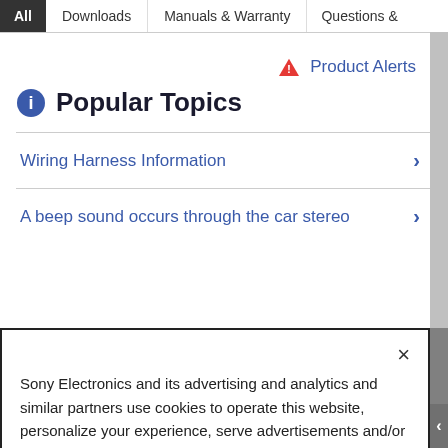All | Downloads | Manuals & Warranty | Questions &...
Product Alerts
Popular Topics
Wiring Harness Information
A beep sound occurs through the car stereo
Sony Electronics and its advertising and analytics and similar partners use cookies to operate this website, personalize your experience, serve advertisements and/or analyze traffic. By using our site, you acknowledge this notice and agree to the use of cookies on our site and to our Privacy Policy.